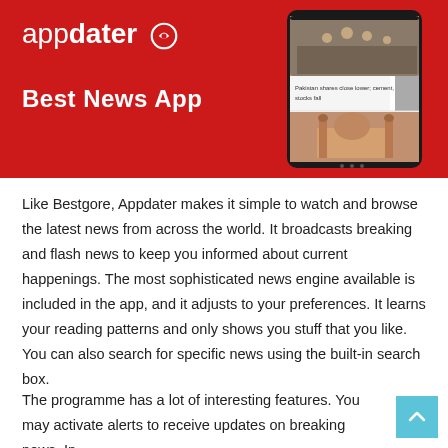[Figure (screenshot): Red banner advertisement for 'appdater' app with white logo text, subtitle 'Best News App', and a phone mockup on the right showing a news app interface with news headlines and an image of a mosque.]
Like Bestgore, Appdater makes it simple to watch and browse the latest news from across the world. It broadcasts breaking and flash news to keep you informed about current happenings. The most sophisticated news engine available is included in the app, and it adjusts to your preferences. It learns your reading patterns and only shows you stuff that you like. You can also search for specific news using the built-in search box.
The programme has a lot of interesting features. You may activate alerts to receive updates on breaking news. In